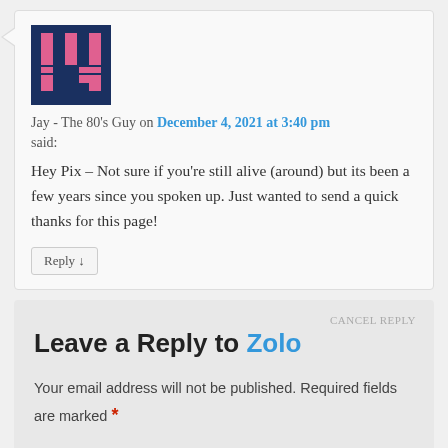[Figure (illustration): Pixel art avatar of a pink and dark blue blocky character on a dark navy background]
Jay - The 80's Guy on December 4, 2021 at 3:40 pm
said:
Hey Pix – Not sure if you're still alive (around) but its been a few years since you spoken up. Just wanted to send a quick thanks for this page!
Reply ↓
Leave a Reply to Zolo CANCEL REPLY
Your email address will not be published. Required fields are marked *